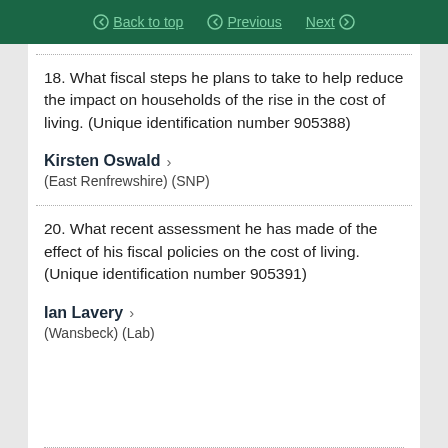Back to top | Previous | Next
18. What fiscal steps he plans to take to help reduce the impact on households of the rise in the cost of living. (Unique identification number 905388)
Kirsten Oswald >
(East Renfrewshire) (SNP)
20. What recent assessment he has made of the effect of his fiscal policies on the cost of living. (Unique identification number 905391)
Ian Lavery >
(Wansbeck) (Lab)